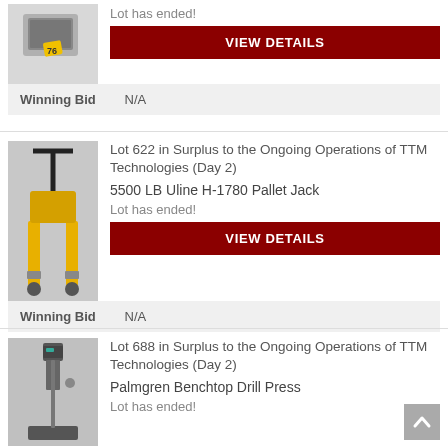[Figure (photo): Product image showing a device with a yellow tag labeled '76']
Lot has ended!
VIEW DETAILS
Winning Bid    N/A
Lot 622 in Surplus to the Ongoing Operations of TTM Technologies (Day 2)
[Figure (photo): Yellow Uline H-1780 pallet jack on grey floor]
5500 LB Uline H-1780 Pallet Jack
Lot has ended!
VIEW DETAILS
Winning Bid    N/A
Lot 688 in Surplus to the Ongoing Operations of TTM Technologies (Day 2)
[Figure (photo): Palmgren benchtop drill press]
Palmgren Benchtop Drill Press
Lot has ended!